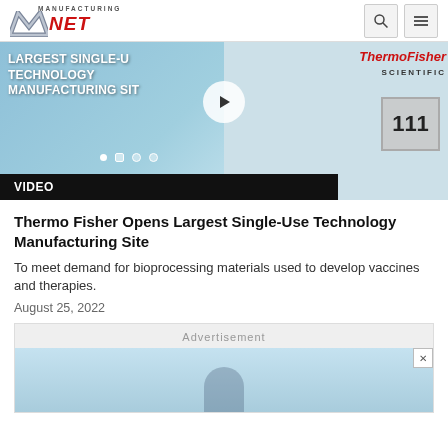Manufacturing.NET
[Figure (screenshot): Video thumbnail showing Thermo Fisher Scientific single-use technology manufacturing site with play button overlay and slide dots. Text overlay reads: LARGEST SINGLE-USE TECHNOLOGY MANUFACTURING SITE]
VIDEO
Thermo Fisher Opens Largest Single-Use Technology Manufacturing Site
To meet demand for bioprocessing materials used to develop vaccines and therapies.
August 25, 2022
[Figure (other): Advertisement placeholder with a person visible at the bottom]